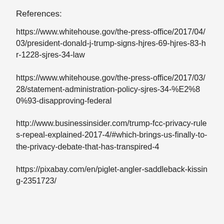References:
https://www.whitehouse.gov/the-press-office/2017/04/03/president-donald-j-trump-signs-hjres-69-hjres-83-hr-1228-sjres-34-law
https://www.whitehouse.gov/the-press-office/2017/03/28/statement-administration-policy-sjres-34-%E2%80%93-disapproving-federal
http://www.businessinsider.com/trump-fcc-privacy-rules-repeal-explained-2017-4/#which-brings-us-finally-to-the-privacy-debate-that-has-transpired-4
https://pixabay.com/en/piglet-angler-saddleback-kissing-2351723/